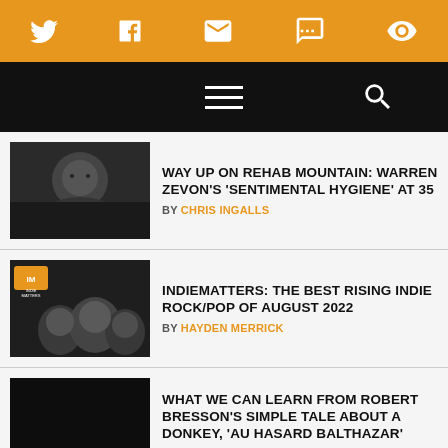Social sharing bar with Twitter, Facebook, Email, SMS, and account icons
Navigation bar with hamburger menu and search icon
WAY UP ON REHAB MOUNTAIN: WARREN ZEVON'S 'SENTIMENTAL HYGIENE' AT 35
BY CHRIS INGALLS
INDIEMATTERS: THE BEST RISING INDIE ROCK/POP OF AUGUST 2022
BY HAYDEN MERRICK
WHAT WE CAN LEARN FROM ROBERT BRESSON'S SIMPLE TALE ABOUT A DONKEY, 'AU HASARD BALTHAZAR'
BY LAURENCE COUPE
'VENOM: LET THERE BE CARNAGE' SHOULD HAVE CUT THE CARNAGE